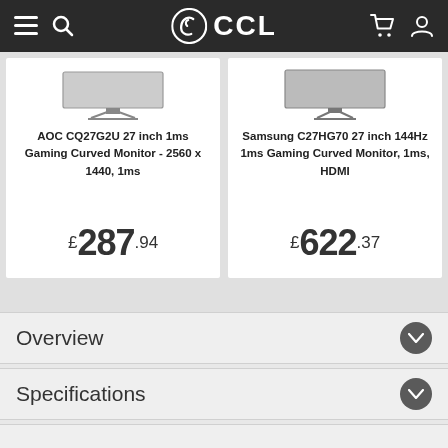CCL
AOC CQ27G2U 27 inch 1ms Gaming Curved Monitor - 2560 x 1440, 1ms
£287.94
Samsung C27HG70 27 inch 144Hz 1ms Gaming Curved Monitor, 1ms, HDMI
£622.37
Overview
Specifications